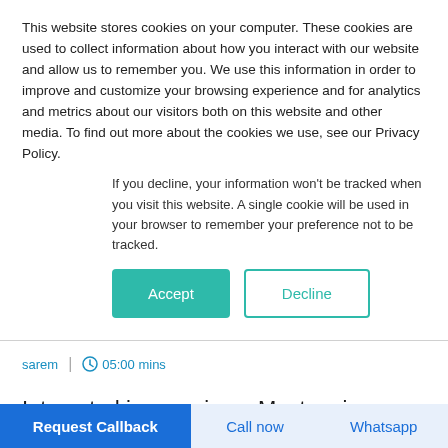This website stores cookies on your computer. These cookies are used to collect information about how you interact with our website and allow us to remember you. We use this information in order to improve and customize your browsing experience and for analytics and metrics about our visitors both on this website and other media. To find out more about the cookies we use, see our Privacy Policy.
If you decline, your information won't be tracked when you visit this website. A single cookie will be used in your browser to remember your preference not to be tracked.
sarem | 05:00 mins
Interested in pursuing a Masters in Finance in Ireland?
If you are exceptionally curious and analytical, have a
Request Callback | Call now | Whatsapp